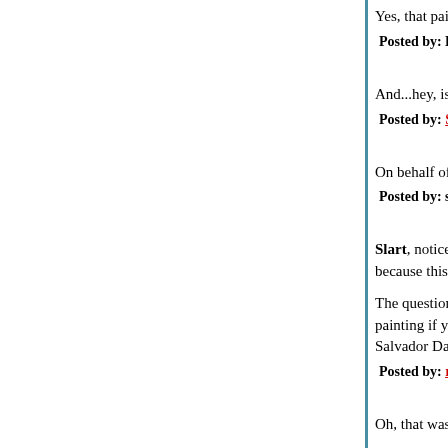Yes, that paintings title must be: "What Hansel an
Posted by: Barry Freed | March 06, 2006 at 12:11 PM
And...hey, is that thatch along the ridgeline? Why
Posted by: Slartibartfast | March 06, 2006 at 12:21 PM
On behalf of cleek: Kincaide Remixed on somethi
Posted by: spartikus | March 06, 2006 at 12:25 PM
Slart, notice the not-near-setting sun behind the h because this is a world of light and lupins.

The question for me is whether there's a placard w painting if you walked up to it in a museum. "Whe Salvador Dali.
Posted by: rilkefan | March 06, 2006 at 12:39 PM
Oh, that was sheer beauty. Especially the roll of K